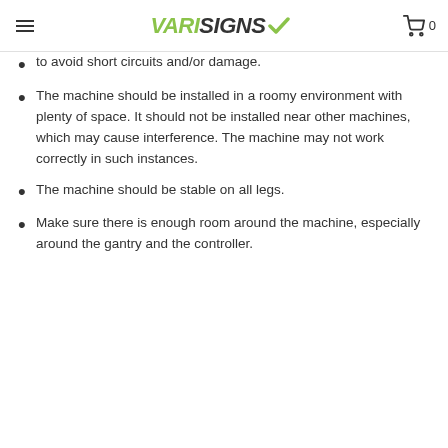VARISIGNS
to avoid short circuits and/or damage.
The machine should be installed in a roomy environment with plenty of space. It should not be installed near other machines, which may cause interference. The machine may not work correctly in such instances.
The machine should be stable on all legs.
Make sure there is enough room around the machine, especially around the gantry and the controller.